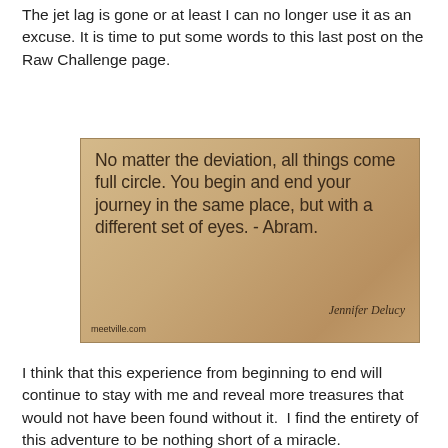The jet lag is gone or at least I can no longer use it as an excuse. It is time to put some words to this last post on the Raw Challenge page.
[Figure (illustration): A quote image on a tan/brown textured background. Text reads: 'No matter the deviation, all things come full circle. You begin and end your journey in the same place, but with a different set of eyes. - Abram.' Attribution: Jennifer Delucy. Source: meetville.com]
I think that this experience from beginning to end will continue to stay with me and reveal more treasures that would not have been found without it.  I find the entirety of this adventure to be nothing short of a miracle.